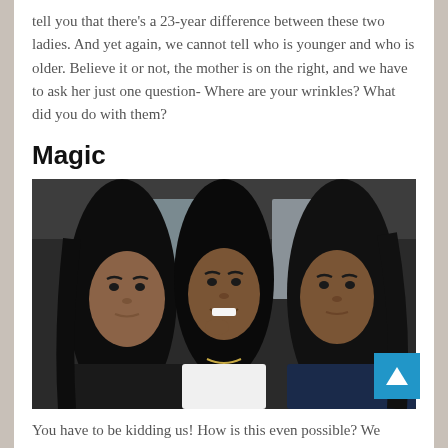tell you that there's a 23-year difference between these two ladies. And yet again, we cannot tell who is younger and who is older. Believe it or not, the mother is on the right, and we have to ask her just one question- Where are your wrinkles? What did you do with them?
Magic
[Figure (photo): Three young-looking women sitting in a car taking a selfie. They all have long straight black hair. The woman on the left wears dark clothing, the woman in the middle is smiling and wearing white, and the woman on the right has a neutral expression.]
You have to be kidding us! How is this even possible? We know that genes are unpredictable, but it seems that they can do